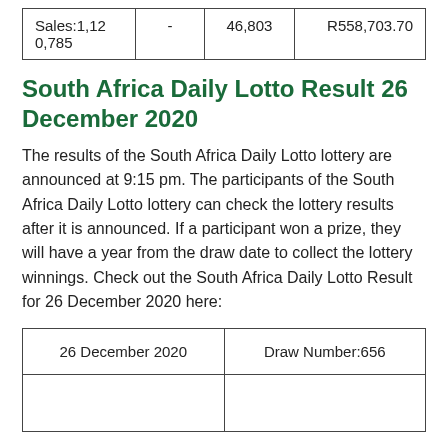| Sales:1,120,785 | - | 46,803 | R558,703.70 |
South Africa Daily Lotto Result 26 December 2020
The results of the South Africa Daily Lotto lottery are announced at 9:15 pm. The participants of the South Africa Daily Lotto lottery can check the lottery results after it is announced. If a participant won a prize, they will have a year from the draw date to collect the lottery winnings. Check out the South Africa Daily Lotto Result for 26 December 2020 here:
| 26 December 2020 | Draw Number:656 |
| --- | --- |
|  |  |  |  |  |